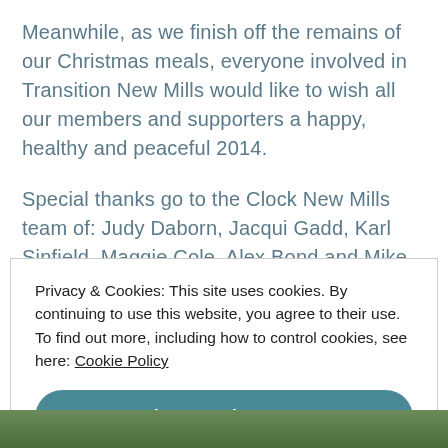Meanwhile, as we finish off the remains of our Christmas meals, everyone involved in Transition New Mills would like to wish all our members and supporters a happy, healthy and peaceful 2014.
Special thanks go to the Clock New Mills team of: Judy Daborn, Jacqui Gadd, Karl Sinfield, Maggie Cole, Alex Bond and Mike Daw for making Clock New Mills possible.
Privacy & Cookies: This site uses cookies. By continuing to use this website, you agree to their use. To find out more, including how to control cookies, see here: Cookie Policy
Close and accept
[Figure (photo): Partial photo strip at bottom of page showing green outdoor/nature scene]